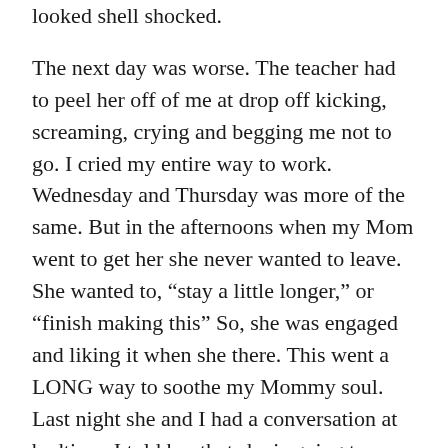looked shell shocked.

The next day was worse. The teacher had to peel her off of me at drop off kicking, screaming, crying and begging me not to go. I cried my entire way to work. Wednesday and Thursday was more of the same. But in the afternoons when my Mom went to get her she never wanted to leave. She wanted to, “stay a little longer,” or “finish making this” So, she was engaged and liking it when she there. This went a LONG way to soothe my Mommy soul. Last night she and I had a conversation at bedtime. I told her that she is going to school. That is not going to change. She is going to go to school and I am going to go to work. It’s just the way that it is. BUT, I told her. You DO have a choice. You can choose to be sad and miserable every morning and cry or you can choose to make the best of it and have fun. When you feel sad just think about something fun that